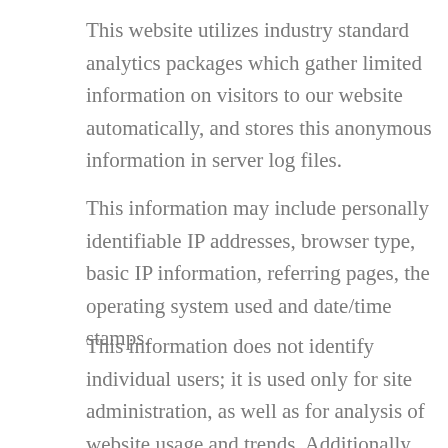This website utilizes industry standard analytics packages which gather limited information on visitors to our website automatically, and stores this anonymous information in server log files.
This information may include personally identifiable IP addresses, browser type, basic IP information, referring pages, the operating system used and date/time stamps.
This information does not identify individual users; it is used only for site administration, as well as for analysis of website usage and trends. Additionally, cookies may be used to provide easier and faster